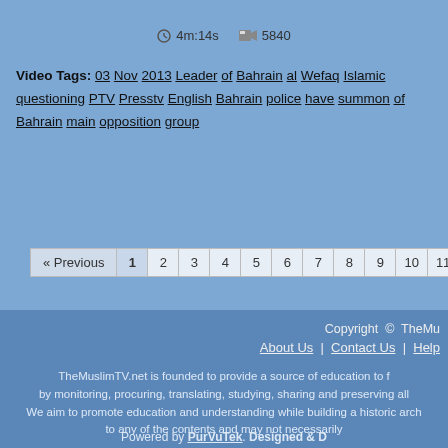4m:14s   5840
Video Tags: 03 Nov 2013 Leader of Bahrain al Wefaq Islamic questioning PTV Presstv English Bahrain police have summoned of Bahrain main opposition group
« Previous 1 2 3 4 5 6 7 8 9 10 11 12 13
Copyright © TheMu
About Us | Contact Us | Help
TheMuslimTV.net is founded to provide a source of education to f by monitoring, procuring, translating, studying, sharing and preserving all We aim to promote education and understanding while building a historic arch to any of the contents and may not necessarily
Powered by PurVuTek. Designed & D